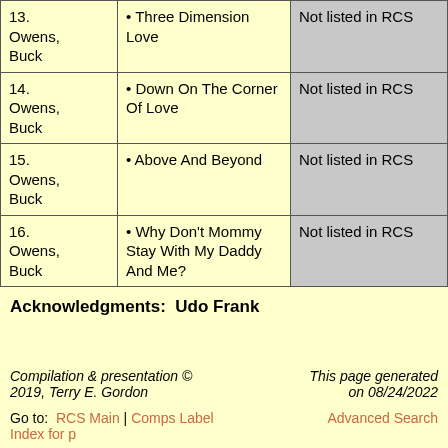| Author | Songs | RCS Status |
| --- | --- | --- |
| 13. Owens, Buck | • Three Dimension Love | Not listed in RCS |
| 14. Owens, Buck | • Down On The Corner Of Love | Not listed in RCS |
| 15. Owens, Buck | • Above And Beyond | Not listed in RCS |
| 16. Owens, Buck | • Why Don't Mommy Stay With My Daddy And Me? | Not listed in RCS |
Acknowledgments:  Udo Frank
Compilation & presentation © 2019, Terry E. Gordon    This page generated on 08/24/2022
Go to:  RCS Main | Comps Label Index for p    Advanced Search